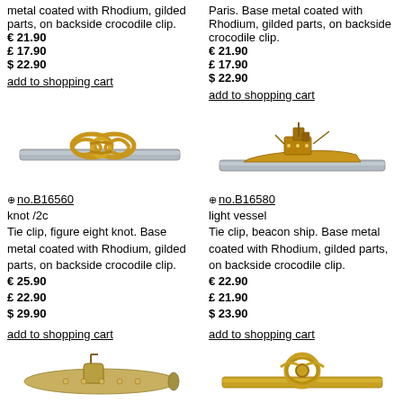metal coated with Rhodium, gilded parts, on backside crocodile clip.
€ 21.90
£ 17.90
$ 22.90
add to shopping cart
Paris. Base metal coated with Rhodium, gilded parts, on backside crocodile clip.
€ 21.90
£ 17.90
$ 22.90
add to shopping cart
[Figure (photo): Tie clip with figure eight knot in gold on silver bar]
[Figure (photo): Tie clip shaped like a light vessel/beacon ship in gold on silver bar]
no.B16560
knot /2c
Tie clip, figure eight knot. Base metal coated with Rhodium, gilded parts, on backside crocodile clip.
€ 25.90
£ 22.90
$ 29.90
add to shopping cart
no.B16580
light vessel
Tie clip, beacon ship. Base metal coated with Rhodium, gilded parts, on backside crocodile clip.
€ 22.90
£ 21.90
$ 23.90
add to shopping cart
[Figure (photo): Tie clip shaped like a submarine in gold/silver]
[Figure (photo): Tie clip with decorative knot/anchor design in gold]